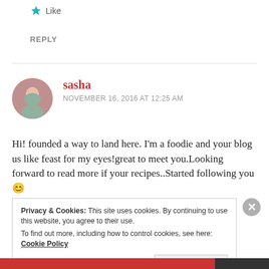★ Like
REPLY
sasha
NOVEMBER 16, 2016 AT 12:25 AM
Hi! founded a way to land here. I'm a foodie and your blog us like feast for my eyes!great to meet you.Looking forward to read more if your recipes..Started following you 😊
Privacy & Cookies: This site uses cookies. By continuing to use this website, you agree to their use. To find out more, including how to control cookies, see here: Cookie Policy
Close and accept